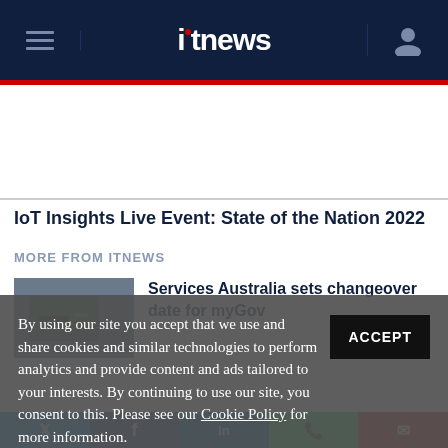itnews
IoT Insights Live Event: State of the Nation 2022
MORE FROM ITNEWS
[Figure (photo): Thumbnail image of a laptop or device on a desk]
Services Australia sets changeover date for myGov
By using our site you accept that we use and share cookies and similar technologies to perform analytics and provide content and ads tailored to your interests. By continuing to use our site, you consent to this. Please see our Cookie Policy for more information.